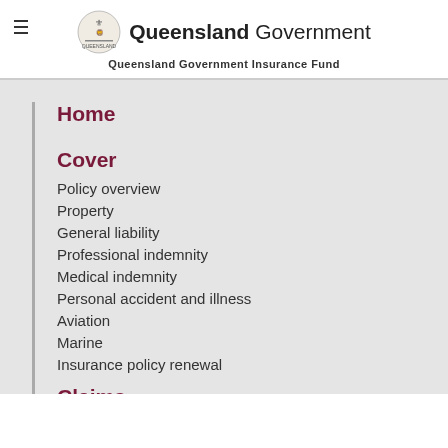Queensland Government | Queensland Government Insurance Fund
Home
Cover
Policy overview
Property
General liability
Professional indemnity
Medical indemnity
Personal accident and illness
Aviation
Marine
Insurance policy renewal
Claims